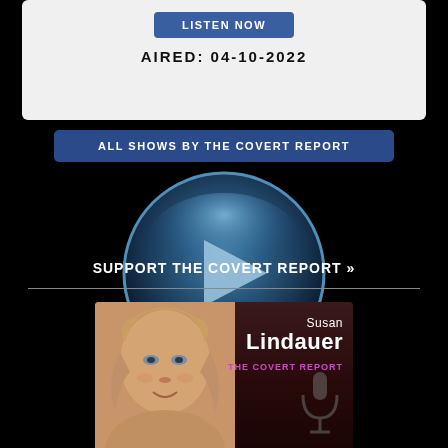[Figure (screenshot): LISTEN NOW blue button]
AIRED: 04-10-2022
[Figure (screenshot): ALL SHOWS BY THE COVERT REPORT blue button]
[Figure (logo): TFR play button circular logo in blue tones]
SUPPORT THE COVERT REPORT >>
[Figure (photo): Photo of Susan Lindauer with The Covert Report branding and microphone]